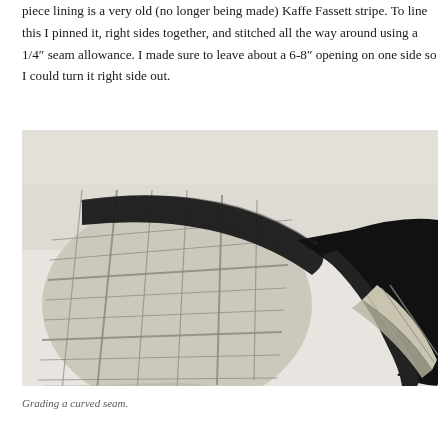piece lining is a very old (no longer being made) Kaffe Fassett stripe. To line this I pinned it, right sides together, and stitched all the way around using a 1/4" seam allowance. I made sure to leave about a 6-8" opening on one side so I could turn it right side out.
[Figure (photo): Close-up photograph of a curved fabric seam being graded. The fabric is a light beige/cream plaid or check pattern, pinned and stitched, with dark black fabric visible at the seam edge. A separate strip of the plaid fabric lies to the right, showing the seam grading process.]
Grading a curved seam.